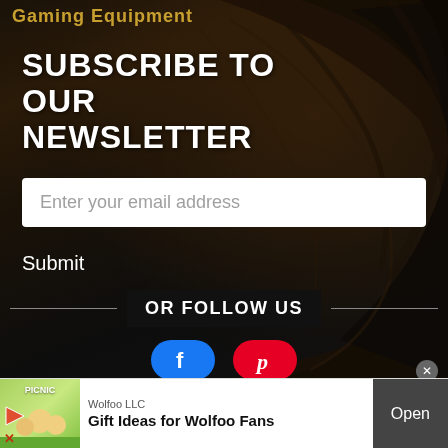Gaming Equipment
SUBSCRIBE TO OUR NEWSLETTER
Enter your email address
Submit
OR FOLLOW US
[Figure (logo): Facebook and Pinterest social media icon buttons]
Wolfoo LLC
Gift Ideas for Wolfoo Fans
Open